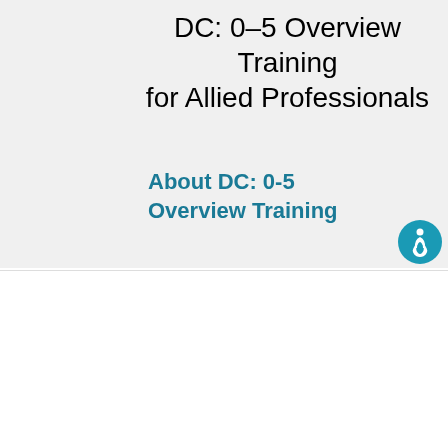DC: 0-5 Overview Training for Allied Professionals
About DC: 0-5 Overview Training
[Figure (illustration): Teal circular accessibility icon with wheelchair/person symbol]
We use cookies on our website to see how you interact with it. By accepting, you agree to our use of such cookies. Privacy Policy
Decline All
Accept
Settings